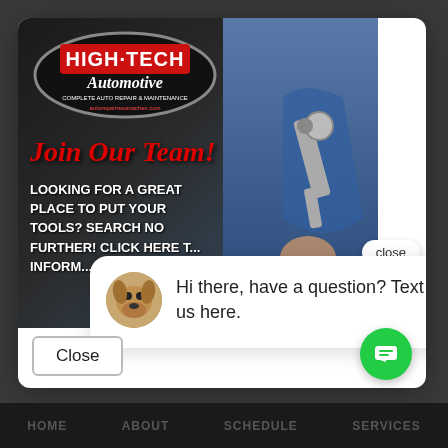[Figure (screenshot): High-Tech Automotive website screenshot showing a job recruitment modal popup. The modal contains a promotional ad image with High-Tech Automotive logo, 'Join Our Team!' text in red italic, 'LOOKING FOR A GREAT PLACE TO PUT YOUR TOOLS? SEARCH NO FURTHER! CLICK HERE T... INFORM...' in white bold caps. A chat widget popup overlays the bottom-right of the ad showing a dog avatar and message 'Hi there, have a question? Text us here.' A 'close' pill button appears on the ad, a 'Close' button at bottom-left of modal, and a green chat bubble icon at bottom-right. Navigation bar at very bottom shows HOME, ABOUT, SCHEDULE, SERVICES.]
Hi there, have a question? Text us here.
HOME   ABOUT   SCHEDULE   SERVICES